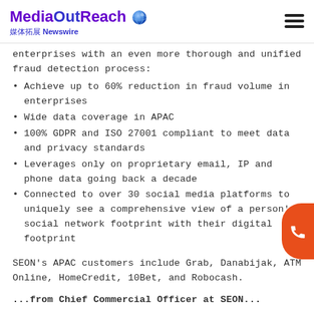MediaOutReach 媒体拓展 Newswire
enterprises with an even more thorough and unified fraud detection process:
Achieve up to 60% reduction in fraud volume in enterprises
Wide data coverage in APAC
100% GDPR and ISO 27001 compliant to meet data and privacy standards
Leverages only on proprietary email, IP and phone data going back a decade
Connected to over 30 social media platforms to uniquely see a comprehensive view of a person's social network footprint with their digital footprint
SEON's APAC customers include Grab, Danabijak, ATM Online, HomeCredit, 10Bet, and Robocash.
...from Chief Commercial Officer at SEON...